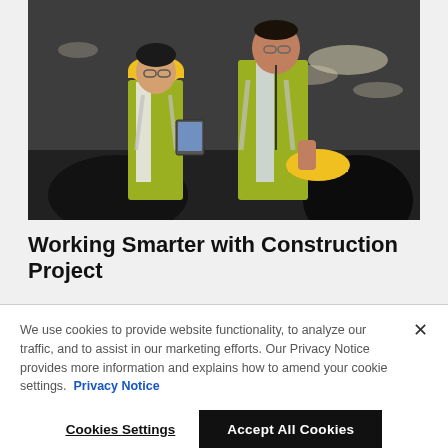[Figure (photo): Two construction workers in yellow high-visibility vests and hard hats reviewing a tablet inside an industrial facility with large metal pipes and blurred background lighting.]
Working Smarter with Construction Project
We use cookies to provide website functionality, to analyze our traffic, and to assist in our marketing efforts. Our Privacy Notice provides more information and explains how to amend your cookie settings.  Privacy Notice
Cookies Settings    Accept All Cookies